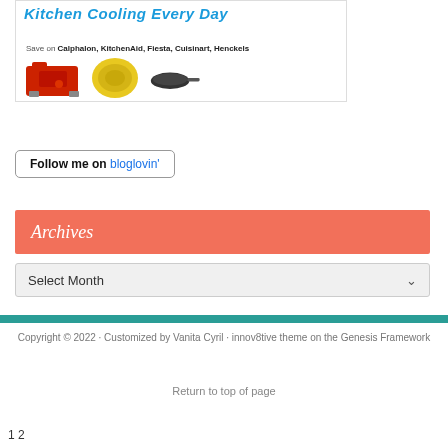[Figure (photo): Advertisement banner showing kitchen brands: Save on Calphalon, KitchenAid, Fiesta, Cuisinart, Henckels, with product images including a red appliance, yellow plate, and dark pan]
[Figure (logo): Follow me on bloglovin' button with rounded border]
Archives
Select Month
Copyright © 2022 · Customized by Vanita Cyril · innov8tive theme on the Genesis Framework
Return to top of page
1 2